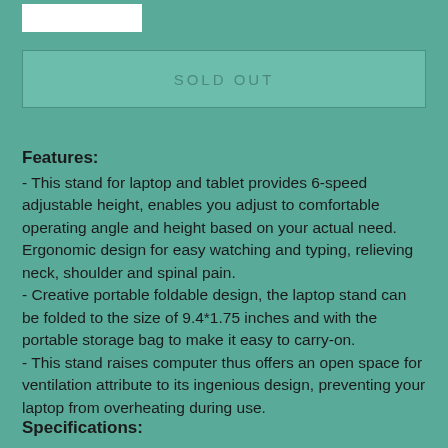[Figure (logo): White rectangle logo placeholder at top left]
SOLD OUT
Features:
- This stand for laptop and tablet provides 6-speed adjustable height, enables you adjust to comfortable operating angle and height based on your actual need. Ergonomic design for easy watching and typing, relieving neck, shoulder and spinal pain.
- Creative portable foldable design, the laptop stand can be folded to the size of 9.4*1.75 inches and with the portable storage bag to make it easy to carry-on.
- This stand raises computer thus offers an open space for ventilation attribute to its ingenious design, preventing your laptop from overheating during use.
Specifications: